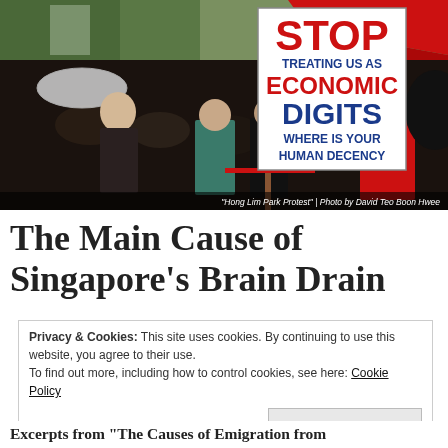[Figure (photo): Hong Lim Park Protest photo showing a crowd of people, a bald man with umbrella on left, a person in red shirt on right, and a prominent sign reading 'STOP TREATING US AS ECONOMIC DIGITS WHERE IS YOUR HUMAN DECENCY'. Photo credit: David Teo Boon Hwee.]
"Hong Lim Park Protest" | Photo by David Teo Boon Hwee
The Main Cause of Singapore's Brain Drain
Privacy & Cookies: This site uses cookies. By continuing to use this website, you agree to their use.
To find out more, including how to control cookies, see here: Cookie Policy
Close and accept
Excerpts from "The Causes of Emigration from